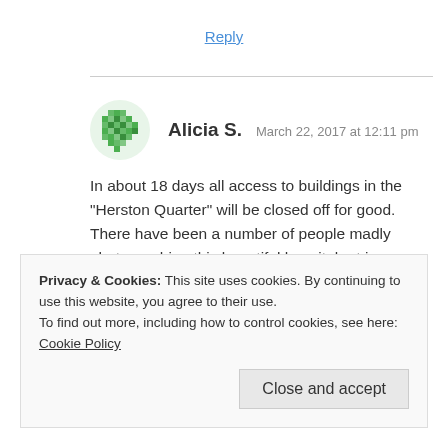Reply
Alicia S.  March 22, 2017 at 12:11 pm
In about 18 days all access to buildings in the “Herston Quarter” will be closed off for good. There have been a number of people madly photographing this beautiful hospital art in accessible areas before it disappears and it was lovely to come across your old post (quite amazing to see inside the much older buildings too!)
Privacy & Cookies: This site uses cookies. By continuing to use this website, you agree to their use.
To find out more, including how to control cookies, see here: Cookie Policy
Close and accept